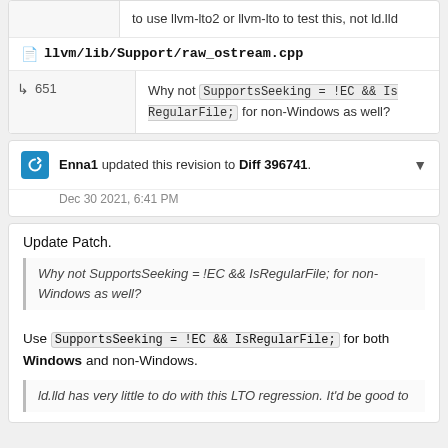to use llvm-lto2 or llvm-lto to test this, not ld.lld
llvm/lib/Support/raw_ostream.cpp
651  Why not SupportsSeekng = !EC && IsRegularFile; for non-Windows as well?
Enna1 updated this revision to Diff 396741. Dec 30 2021, 6:41 PM
Update Patch.
Why not SupportsSeeking = !EC && IsRegularFile; for non-Windows as well?
Use SupportsSeeking = !EC && IsRegularFile; for both Windows and non-Windows.
ld.lld has very little to do with this LTO regression. It'd be good to